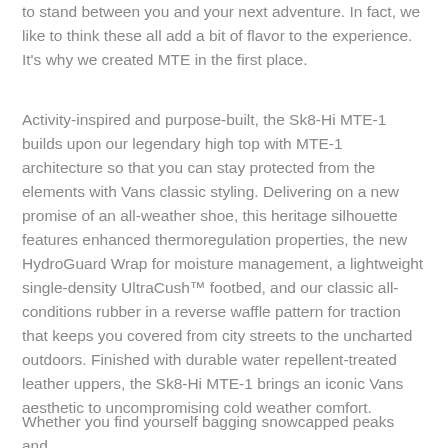to stand between you and your next adventure. In fact, we like to think these all add a bit of flavor to the experience. It's why we created MTE in the first place.
Activity-inspired and purpose-built, the Sk8-Hi MTE-1 builds upon our legendary high top with MTE-1 architecture so that you can stay protected from the elements with Vans classic styling. Delivering on a new promise of an all-weather shoe, this heritage silhouette features enhanced thermoregulation properties, the new HydroGuard Wrap for moisture management, a lightweight single-density UltraCush™ footbed, and our classic all-conditions rubber in a reverse waffle pattern for traction that keeps you covered from city streets to the uncharted outdoors. Finished with durable water repellent-treated leather uppers, the Sk8-Hi MTE-1 brings an iconic Vans aesthetic to uncompromising cold weather comfort.
Whether you find yourself bagging snowcapped peaks and navigating rocky shores, you can count on ff...